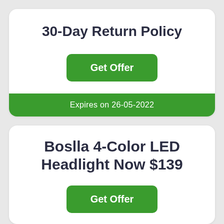30-Day Return Policy
Get Offer
Expires on 26-05-2022
Boslla 4-Color LED Headlight Now $139
Get Offer